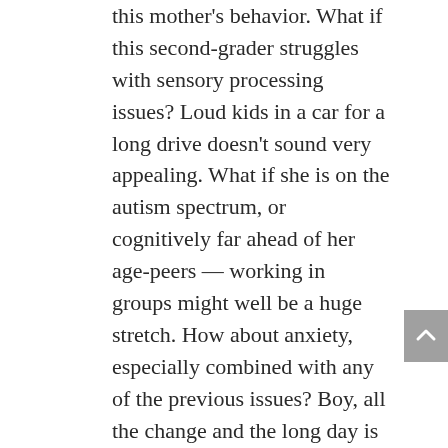this mother's behavior. What if this second-grader struggles with sensory processing issues? Loud kids in a car for a long drive doesn't sound very appealing. What if she is on the autism spectrum, or cognitively far ahead of her age-peers — working in groups might well be a huge stretch. How about anxiety, especially combined with any of the previous issues? Boy, all the change and the long day is going to wear her out. Take into consideration, too, that for any learning to be accomplished, the brain has to be relaxed and receptive, not stressed and worn out. If any or all of these factors are present (and in our hypothetical situation, many are,) mom's behavior starts to look a lot more like appropriate scaffolding. Managing